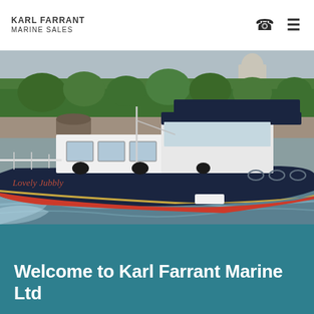KARL FARRANT MARINE SALES
[Figure (photo): A dark navy blue motor cruiser named 'Lovely Jubbly' cruising on the River Thames in London, with trees and buildings visible in the background. The boat has a white superstructure with a navy bimini top and a red waterline stripe.]
Welcome to Karl Farrant Marine Ltd